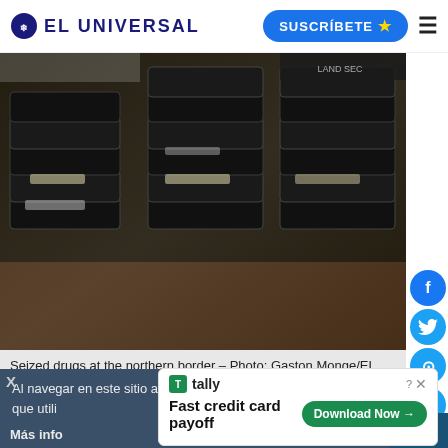EL UNIVERSAL
[Figure (photo): Stacked black packages of seized drugs at the northern border]
Seized drugs at the northern border – Photo: Gaston Monge/EL UNIVERSAL
ENGLISH | 24/10/2017 | 11:30 | Washington | Victor Sancho | Actualizada 11:35
Al navegar en este sitio aceptas las cookies que utili
Más info
[Figure (other): Advertisement: tally - Fast credit card payoff - Download Now button]